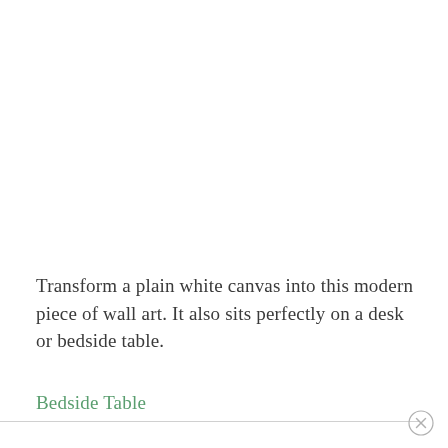Transform a plain white canvas into this modern piece of wall art. It also sits perfectly on a desk or bedside table.
Bedside Table